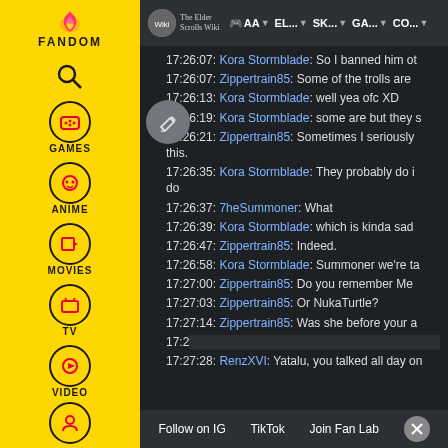[Figure (screenshot): Fandom wiki website sidebar with yellow background showing FANDOM logo, search icon, GAMES, ANIME, MOVIES, TV, VIDEO icons and a user icon at bottom]
[Figure (screenshot): Top navigation bar showing The Elder Scrolls Wiki logo and navigation items: AA, EL..., SK..., GA..., CO...]
17:26:07: Kora Stormblade: So I banned him ot
17:26:07: Zippertrain85: Some of the trolls are
17:26:13: Kora Stormblade: well yea ofc XD
17:26:19: Kora Stormblade: some are but they s
17:26:21: Zippertrain85: Sometimes I seriously this.
17:26:35: Kora Stormblade: They probably do i do
17:26:37: 7heSummoner: What
17:26:39: Kora Stormblade: which is kinda sad
17:26:47: Zippertrain85: Indeed.
17:26:58: Kora Stormblade: Summoner we're ta
17:27:00: Zippertrain85: Do you remember Me
17:27:03: Zippertrain85: Or NukaTurtle?
17:27:14: Zippertrain85: Was she before your a
17:2... nfo
17:27:28: RenzXVI: Yatalu, you talked all day on
Follow on IG   TikTok   Join Fan Lab   X